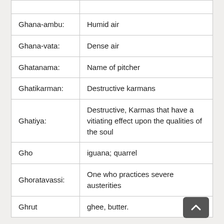| Term | Definition |
| --- | --- |
|  |  |
| Ghana-ambu: | Humid air |
| Ghana-vata: | Dense air |
| Ghatanama: | Name of pitcher |
| Ghatikarman: | Destructive karmans |
| Ghatiya: | Destructive, Karmas that have a vitiating effect upon the qualities of the soul |
| Gho | iguana; quarrel |
| Ghoratavassi: | One who practices severe austerities |
| Ghrut | ghee, butter. |